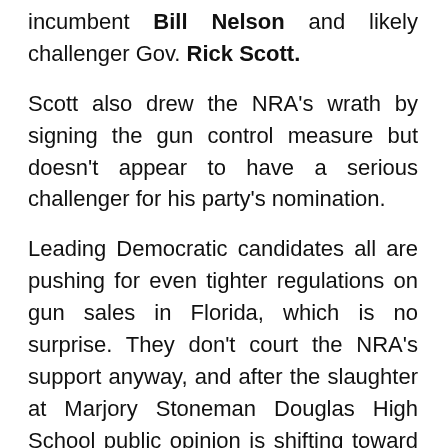incumbent Bill Nelson and likely challenger Gov. Rick Scott.
Scott also drew the NRA’s wrath by signing the gun control measure but doesn’t appear to have a serious challenger for his party’s nomination.
Leading Democratic candidates all are pushing for even tighter regulations on gun sales in Florida, which is no surprise. They don’t court the NRA’s support anyway, and after the slaughter at Marjory Stoneman Douglas High School public opinion is shifting toward stronger laws.
Putnam has called himself a “prou NRA sellout” and opposed the restrictions pushed